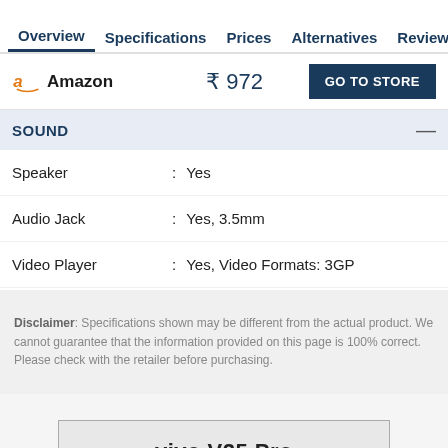Overview | Specifications | Prices | Alternatives | Reviews
Amazon  ₹ 972  GO TO STORE
SOUND
| Feature |  | Value |
| --- | --- | --- |
| Speaker | : | Yes |
| Audio Jack | : | Yes, 3.5mm |
| Video Player | : | Yes, Video Formats: 3GP |
Disclaimer: Specifications shown may be different from the actual product. We cannot guarantee that the information provided on this page is 100% correct. Please check with the retailer before purchasing.
[Figure (advertisement): vivo V25 Pro advertisement banner with tagline 'Delight Every Moment']